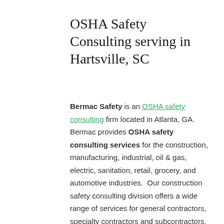OSHA Safety Consulting serving in Hartsville, SC
Bermac Safety is an OSHA safety consulting firm located in Atlanta, GA. Bermac provides OSHA safety consulting services for the construction, manufacturing, industrial, oil & gas, electric, sanitation, retail, grocery, and automotive industries. Our construction safety consulting division offers a wide range of services for general contractors, specialty contractors and subcontractors. Our construction clients work in commercial construction, industrial construction, multi-